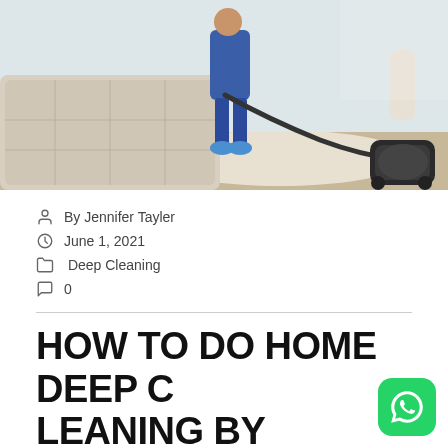[Figure (photo): A person in blue outfit and blue shoe covers vacuuming a beige tufted sofa/ottoman with a canister vacuum cleaner on a light rug in a living room.]
By Jennifer Tayler
June 1, 2021
Deep Cleaning
0
HOW TO DO HOME DEEP CLEANING BY YOURSELF?
Every home requires needs deep cleaning